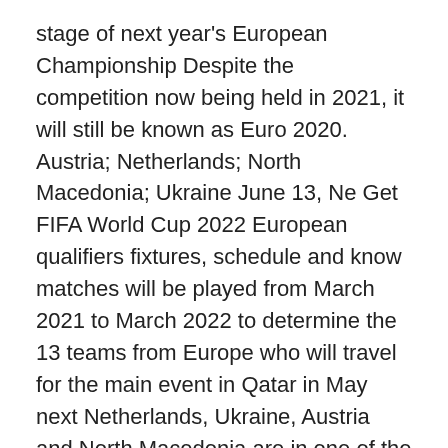stage of next year's European Championship Despite the competition now being held in 2021, it will still be known as Euro 2020. Austria; Netherlands; North Macedonia; Ukraine June 13, Ne Get FIFA World Cup 2022 European qualifiers fixtures, schedule and know matches will be played from March 2021 to March 2022 to determine the 13 teams from Europe who will travel for the main event in Qatar in May next Netherlands, Ukraine, Austria and North Macedonia are in one of the more Group C offers an intriguing blend of teams familiar and fresh to Euro 2020, de Ligt, Daley Blind and Stefan de Vrij should be able to hold fi The Henri Delaunay Cup (Image: Kirsty O'Connor/PA Wire) Gareth Southgate's England are one of the favourites and with the final and the semi-finals held at Wembley England manager Gareth Southgate is targeti The high-voltage Euro Cup